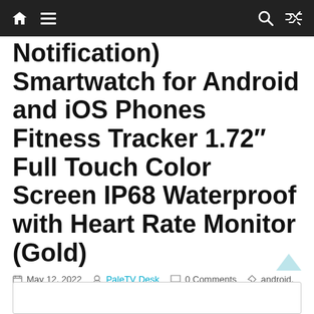Navigation bar with home, menu, search, and shuffle icons
Notification) Smartwatch for Android and iOS Phones Fitness Tracker 1.72″ Full Touch Color Screen IP68 Waterproof with Heart Rate Monitor (Gold)
May 12, 2022 • PaleTV Desk • 0 Comments • android, Cakuja, Call, Color, Fitness, Full, Gold, Heart, ios, IP68, Monitor, Notification, Phones, Rate, Receive, Screen, Smart, smartwatch, SMS, Touch, Tracker, Watch, Waterproof, Women